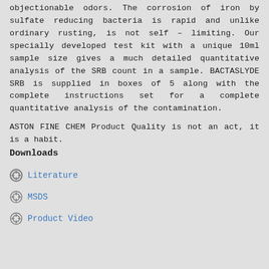objectionable odors. The corrosion of iron by sulfate reducing bacteria is rapid and unlike ordinary rusting, is not self – limiting. Our specially developed test kit with a unique 10ml sample size gives a much detailed quantitative analysis of the SRB count in a sample. BACTASLYDE SRB is supplied in boxes of 5 along with the complete instructions set for a complete quantitative analysis of the contamination.
ASTON FINE CHEM Product Quality is not an act, it is a habit.
Downloads
Literature
MSDS
Product Video